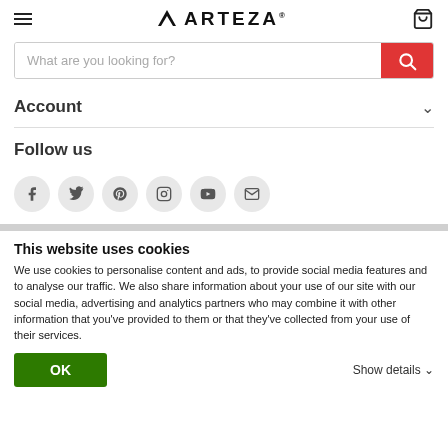ARTEZA
What are you looking for?
Account
Follow us
[Figure (other): Social media icons: Facebook, Twitter, Pinterest, Instagram, YouTube, Email]
This website uses cookies
We use cookies to personalise content and ads, to provide social media features and to analyse our traffic. We also share information about your use of our site with our social media, advertising and analytics partners who may combine it with other information that you've provided to them or that they've collected from your use of their services.
OK
Show details